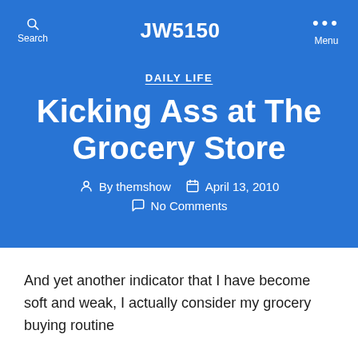JW5150
DAILY LIFE
Kicking Ass at The Grocery Store
By themshow   April 13, 2010
No Comments
And yet another indicator that I have become soft and weak, I actually consider my grocery buying routine